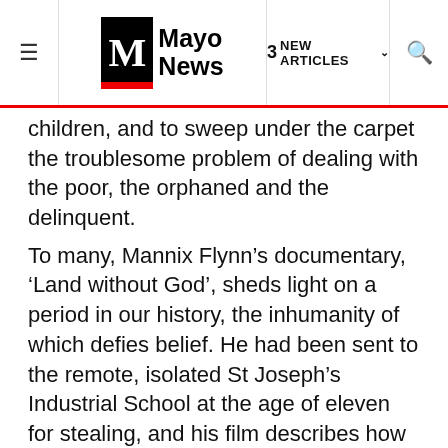Mayo News — 3 NEW ARTICLES
children, and to sweep under the carpet the troublesome problem of dealing with the poor, the orphaned and the delinquent.
To many, Mannix Flynn’s documentary, ‘Land without God’, sheds light on a period in our history, the inhumanity of which defies belief. He had been sent to the remote, isolated St Joseph’s Industrial School at the age of eleven for stealing, and his film describes how he and